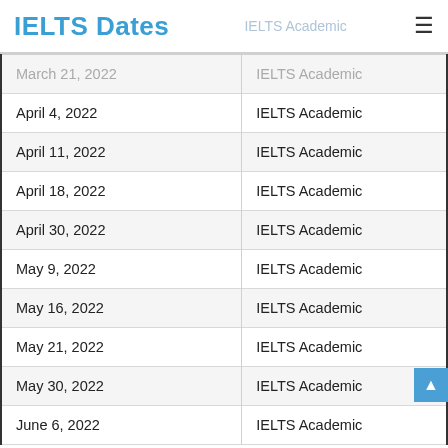IELTS Dates
| Date | Type |
| --- | --- |
| March 21, 2022 | IELTS Academic |
| April 4, 2022 | IELTS Academic |
| April 11, 2022 | IELTS Academic |
| April 18, 2022 | IELTS Academic |
| April 30, 2022 | IELTS Academic |
| May 9, 2022 | IELTS Academic |
| May 16, 2022 | IELTS Academic |
| May 21, 2022 | IELTS Academic |
| May 30, 2022 | IELTS Academic |
| June 6, 2022 | IELTS Academic |